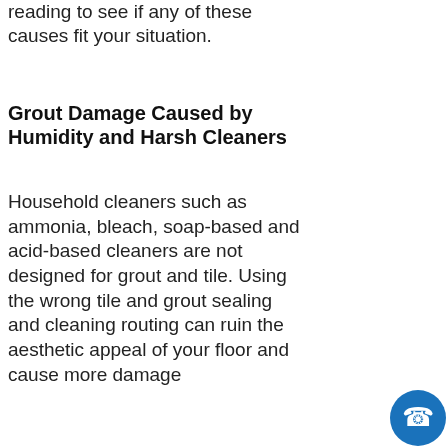reading to see if any of these causes fit your situation.
Grout Damage Caused by Humidity and Harsh Cleaners
Household cleaners such as ammonia, bleach, soap-based and acid-based cleaners are not designed for grout and tile. Using the wrong tile and grout sealing and cleaning routing can ruin the aesthetic appeal of your floor and cause more damage
Mistakes That Hurt Your Marble
The durability of natural stone is one of the many benefits of using materials ...
4
[Figure (other): Loading spinner icon]
Common Grout Cleaning Mistakes that Homeowners
Cleaning the tile and